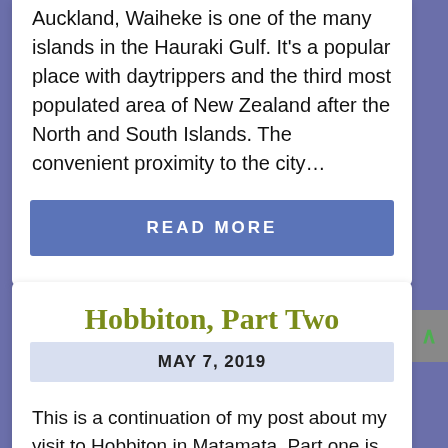Auckland, Waiheke is one of the many islands in the Hauraki Gulf. It's a popular place with daytrippers and the third most populated area of New Zealand after the North and South Islands. The convenient proximity to the city…
READ MORE
Hobbiton, Part Two
MAY 7, 2019
This is a continuation of my post about my visit to Hobbiton in Matamata. Part one is here. I was busy taking photos of